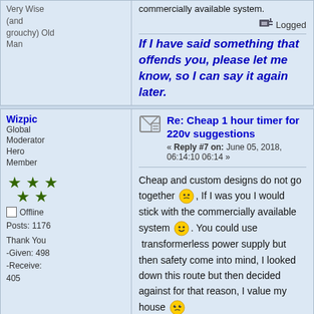commercially available system.
Very Wise (and grouchy) Old Man
Logged
If I have said something that offends you, please let me know, so I can say it again later.
Wizpic
Global Moderator Hero Member
Offline
Posts: 1176
Thank You -Given: 498 -Receive: 405
Re: Cheap 1 hour timer for 220v suggestions
« Reply #7 on: June 05, 2018, 06:14:10 06:14 »
Cheap and custom designs do not go together, If I was you I would stick with the commercially available system. You could use transformerless power supply but then safety come into mind, I looked down this route but then decided against for that reason, I value my house
Logged
When you think, "I can't do anymore. I need a break," that is the time to challenge yourself to keep going another five minutes. Those who persevere for even an extra five minutes will win in life..